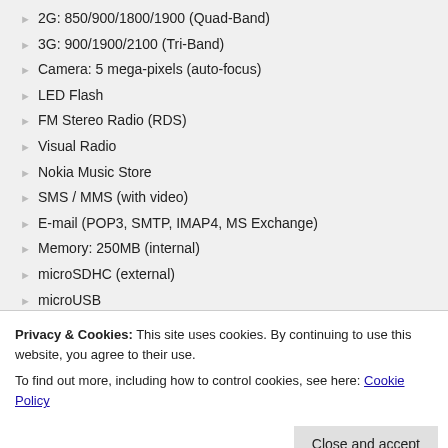2G: 850/900/1800/1900 (Quad-Band)
3G: 900/1900/2100 (Tri-Band)
Camera: 5 mega-pixels (auto-focus)
LED Flash
FM Stereo Radio (RDS)
Visual Radio
Nokia Music Store
SMS / MMS (with video)
E-mail (POP3, SMTP, IMAP4, MS Exchange)
Memory: 250MB (internal)
microSDHC (external)
microUSB
Nokia 3.5mm AV connector
Bluetooth (2.0)
Wi-Fi (IEEE 802.11 g)
AGPS
Privacy & Cookies: This site uses cookies. By continuing to use this website, you agree to their use.
To find out more, including how to control cookies, see here: Cookie Policy
Posted by: Matt
[ Post Tags: Nokia E72, Symbian, tracyandmatt.co.uk ]